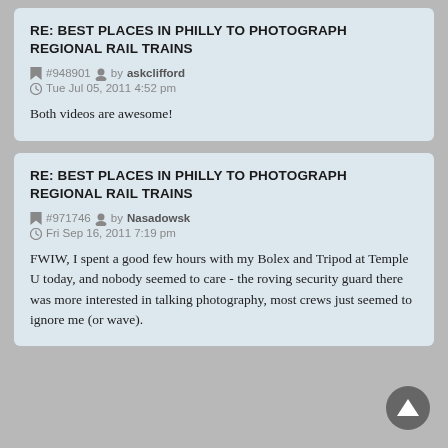RE: BEST PLACES IN PHILLY TO PHOTOGRAPH REGIONAL RAIL TRAINS
#948901 by askclifford
Tue Jul 05, 2011 4:52 pm
Both videos are awesome!
RE: BEST PLACES IN PHILLY TO PHOTOGRAPH REGIONAL RAIL TRAINS
#971746 by Nasadowsk
Fri Sep 16, 2011 7:19 pm
FWIW, I spent a good few hours with my Bolex and Tripod at Temple U today, and nobody seemed to care - the roving security guard there was more interested in talking photography, most crews just seemed to ignore me (or wave).